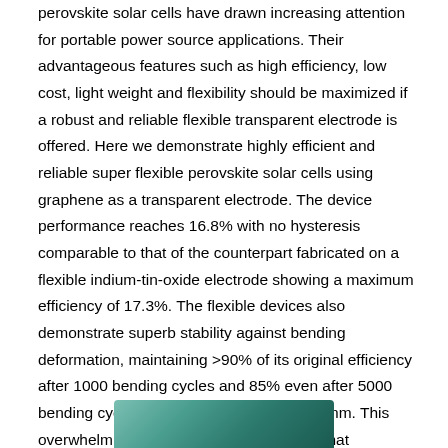perovskite solar cells have drawn increasing attention for portable power source applications. Their advantageous features such as high efficiency, low cost, light weight and flexibility should be maximized if a robust and reliable flexible transparent electrode is offered. Here we demonstrate highly efficient and reliable super flexible perovskite solar cells using graphene as a transparent electrode. The device performance reaches 16.8% with no hysteresis comparable to that of the counterpart fabricated on a flexible indium-tin-oxide electrode showing a maximum efficiency of 17.3%. The flexible devices also demonstrate superb stability against bending deformation, maintaining >90% of its original efficiency after 1000 bending cycles and 85% even after 5000 bending cycles with a bending radius of 2 mm. This overwhelming bending stability highlights that perovskite photovoltaics with graphene electrodes can pave the way for rollable and foldable photovoltaic applications.
[Figure (photo): Partial photo of a device or sample, visible at the bottom of the page, showing teal/green colored material]